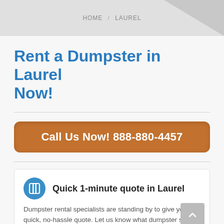HOME / LAUREL
Rent a Dumpster in Laurel Now!
Call Us Now! 888-880-4457
Quick 1-minute quote in Laurel
Dumpster rental specialists are standing by to give you a quick, no-hassle quote. Let us know what dumpster size